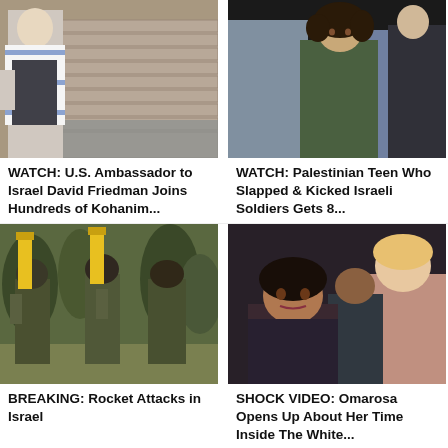[Figure (photo): Man in prayer shawl at Western Wall with crowd in background]
WATCH: U.S. Ambassador to Israel David Friedman Joins Hundreds of Kohanim...
[Figure (photo): Palestinian teen with curly hair in green jacket flanked by people in gray uniforms]
WATCH: Palestinian Teen Who Slapped & Kicked Israeli Soldiers Gets 8...
[Figure (photo): Soldiers in camouflage with large rockets in outdoor setting with trees]
BREAKING: Rocket Attacks in Israel
[Figure (photo): Woman in foreground looking serious, man with white hair and man in dark suit in background]
SHOCK VIDEO: Omarosa Opens Up About Her Time Inside The White...